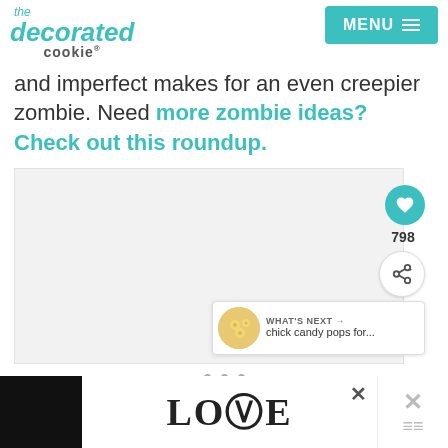the decorated cookie | MENU
and imperfect makes for an even creepier zombie. Need more zombie ideas? Check out this roundup.
[Figure (screenshot): Large image placeholder with social share buttons (heart icon, 798 count, share icon) and a 'WHAT'S NEXT' chick candy pops for... panel. Three navigation dots below.]
[Figure (photo): Advertisement bar at bottom showing LOVE text in decorative style with close button and another ad on the right.]